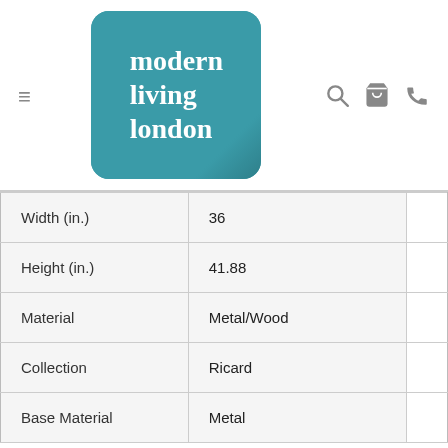[Figure (logo): Modern Living London logo — teal/turquoise rounded square with white serif bold text reading 'modern living london']
| Width (in.) | 36 |
| Height (in.) | 41.88 |
| Material | Metal/Wood |
| Collection | Ricard |
| Base Material | Metal |